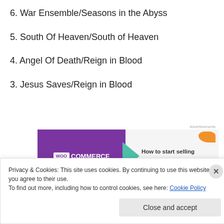6. War Ensemble/Seasons in the Abyss
5. South Of Heaven/South of Heaven
4. Angel Of Death/Reign in Blood
3. Jesus Saves/Reign in Blood
[Figure (screenshot): WooCommerce advertisement banner: 'How to start selling subscriptions online']
2. Postmortem/Raining Blood/Reign in Blood
Privacy & Cookies: This site uses cookies. By continuing to use this website, you agree to their use.
To find out more, including how to control cookies, see here: Cookie Policy